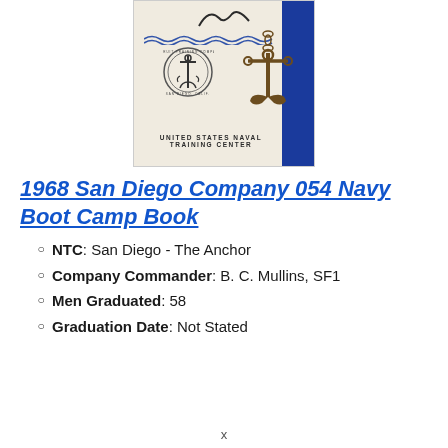[Figure (photo): Cover of the 1968 San Diego Company 054 Navy Boot Camp Book showing a United States Naval Training Center book cover with blue spine, an anchor emblem, a circular training company seal, wavy lines, and text reading UNITED STATES NAVAL TRAINING CENTER]
1968 San Diego Company 054 Navy Boot Camp Book
NTC: San Diego - The Anchor
Company Commander: B. C. Mullins, SF1
Men Graduated: 58
Graduation Date: Not Stated
x